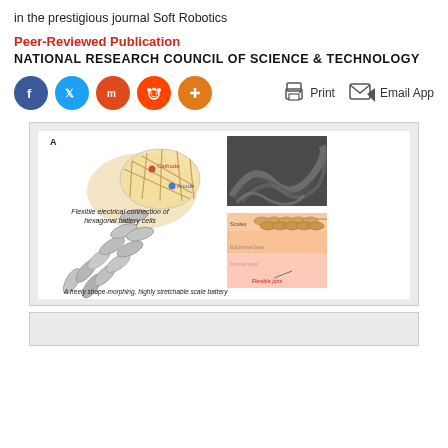in the prestigious journal Soft Robotics
Peer-Reviewed Publication
NATIONAL RESEARCH COUNCIL OF SCIENCE & TECHNOLOGY
Social sharing buttons: Facebook, Twitter, Mix, Reddit, Plus; Actions: Print, Email App
[Figure (illustration): Scientific illustration showing (A) a freely shape-morphing, highly stretchable scale battery with flexible electrical connection of hexagonal battery cells, and (B) a snake photo and cross-section diagram showing scales, epidermal layer, dermal layer, and flexible joint.]